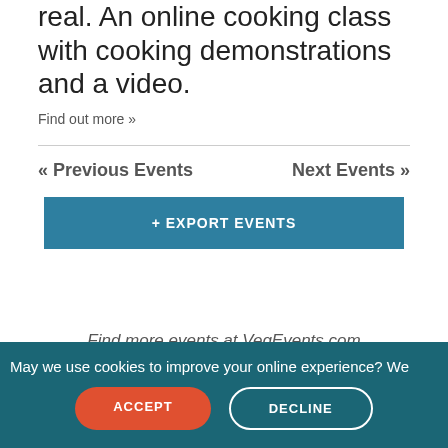real. An online cooking class with cooking demonstrations and a video.
Find out more »
« Previous Events
Next Events »
+ EXPORT EVENTS
Find more events at VegEvents.com
May we use cookies to improve your online experience? We
ACCEPT
DECLINE